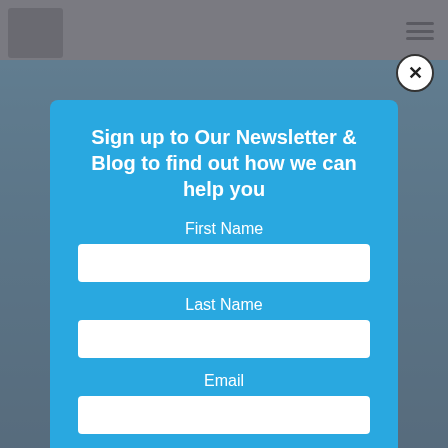[Figure (screenshot): Website background showing a header with logo and navigation icon, and a blue content area behind the modal popup.]
Sign up to Our Newsletter & Blog to find out how we can help you
First Name
Last Name
Email
Send